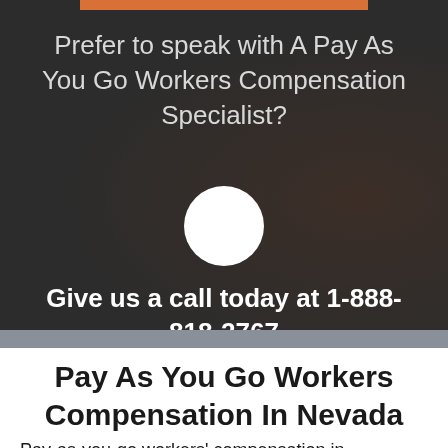[Figure (photo): Dark background section with orange bar at top and white circle in center, representing a call-to-action section for workers compensation specialist]
Prefer to speak with A Pay As You Go Workers Compensation Specialist?
Give us a call today at 1-888-818-2767
Pay As You Go Workers Compensation In Nevada
Pay-as-you-go workers' compensation in